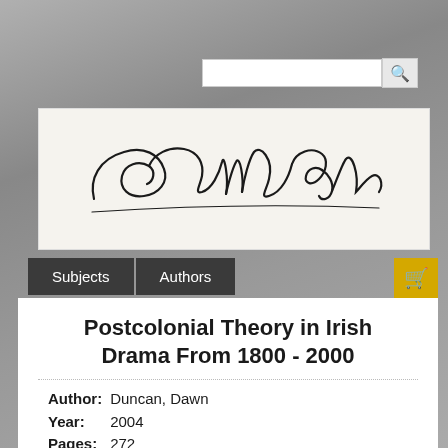[Figure (logo): Edwin Mellen Press cursive signature logo on cream background]
Subjects  Authors
Postcolonial Theory in Irish Drama From 1800 - 2000
Author: Duncan, Dawn
Year: 2004
Pages: 272
ISBN: 0-7734-6408-0